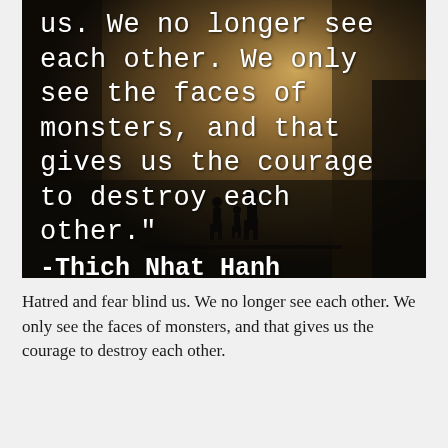[Figure (photo): Dark atmospheric photo of silhouetted figures walking through a dimly lit urban corridor, with warm light in the background. White serif/typewriter-style text overlaid reads a quote by Thich Nhat Hanh about hatred and fear.]
Hatred and fear blind us. We no longer see each other. We only see the faces of monsters, and that gives us the courage to destroy each other.